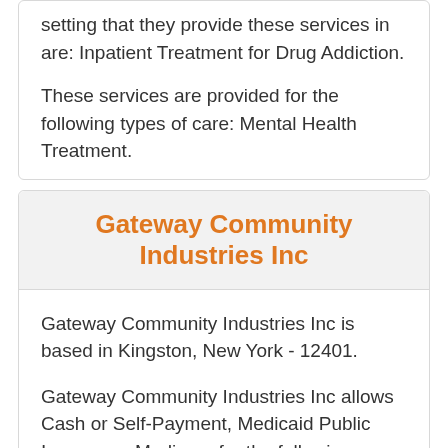setting that they provide these services in are: Inpatient Treatment for Drug Addiction.
These services are provided for the following types of care: Mental Health Treatment.
Gateway Community Industries Inc
Gateway Community Industries Inc is based in Kingston, New York - 12401.
Gateway Community Industries Inc allows Cash or Self-Payment, Medicaid Public Insurance, Medicare for the following treatment approaches: Individual Drug